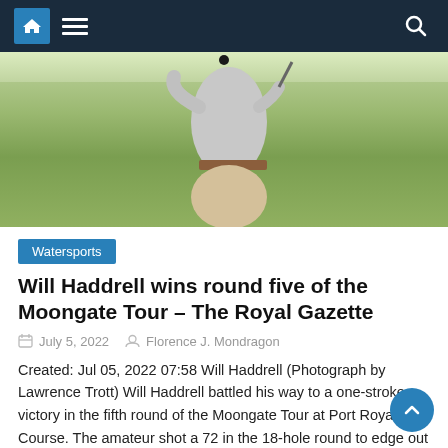Navigation bar with home, menu, and search icons
[Figure (photo): A golfer mid-swing on a grass field, wearing a light grey knit sweater and beige trousers, with a golf ball visible above]
Watersports
Will Haddrell wins round five of the Moongate Tour – The Royal Gazette
July 5, 2022   Florence J. Mondragon
Created: Jul 05, 2022 07:58 Will Haddrell (Photograph by Lawrence Trott) Will Haddrell battled his way to a one-stroke victory in the fifth round of the Moongate Tour at Port Royal Golf Course. The amateur shot a 72 in the 18-hole round to edge out pros Chris Smith, Nick Jones and Camiko Smith, along with [...]